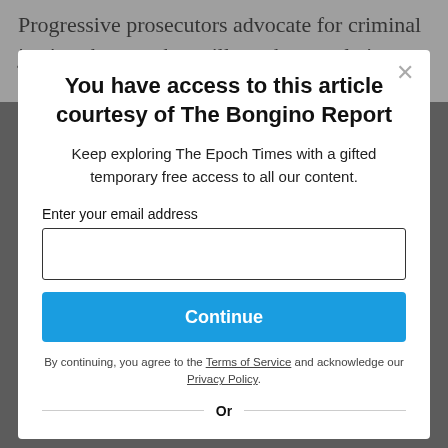Progressive prosecutors advocate for criminal justice changes that will cut the population behind bars and
You have access to this article courtesy of The Bongino Report
Keep exploring The Epoch Times with a gifted temporary free access to all our content.
Enter your email address
Continue
By continuing, you agree to the Terms of Service and acknowledge our Privacy Policy.
Or